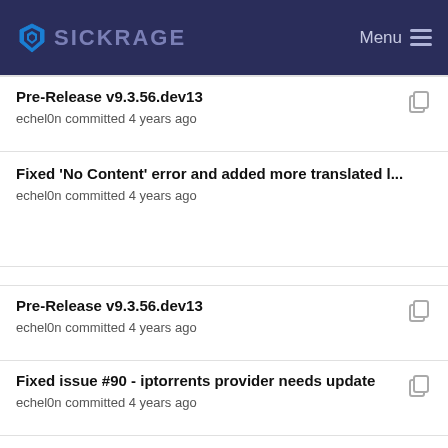SICKRAGE  Menu
Pre-Release v9.3.56.dev13
echel0n committed 4 years ago
Fixed 'No Content' error and added more translated l...
echel0n committed 4 years ago
Pre-Release v9.3.56.dev13
echel0n committed 4 years ago
Fixed issue #90 - iptorrents provider needs update
echel0n committed 4 years ago
Fixed 'No Content' error and added more translated l...
echel0n committed 4 years ago
Pre-Release v9.3.56.dev13
echel0n committed 4 years ago
Fixed 'No Content' error and added more translated l...
echel0n committed 4 years ago